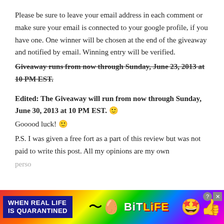Please be sure to leave your email address in each comment or make sure your email is connected to your google profile, if you have one. One winner will be chosen at the end of the giveaway and notified by email. Winning entry will be verified.
Giveaway runs from now through Sunday, June 23, 2013 at 10 PM EST.
Edited: The Giveaway will run from now through Sunday, June 30, 2013 at 10 PM EST. 🙂
Gooood luck! 🙂
P.S. I was given a free fort as a part of this review but was not paid to write this post. All my opinions are my own person…
[Figure (other): BitLife advertisement banner with rainbow gradient background, text 'WHEN REAL LIFE IS QUARANTINED', BitLife logo with star emoji and thumbs up emoji]